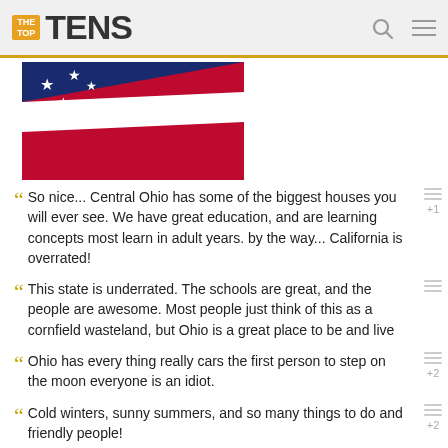THE TOP TENS
[Figure (photo): American flag (Ohio state flag or US flag) with blue field with stars and red/white stripes, cropped close-up]
So nice... Central Ohio has some of the biggest houses you will ever see. We have great education, and are learning concepts most learn in adult years. by the way... California is overrated!
This state is underrated. The schools are great, and the people are awesome. Most people just think of this as a cornfield wasteland, but Ohio is a great place to be and live
Ohio has every thing really cars the first person to step on the moon everyone is an idiot.
Cold winters, sunny summers, and so many things to do and friendly people!
+ 15 Comments